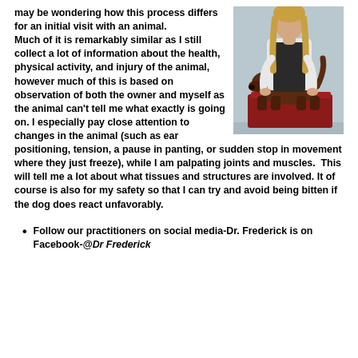may be wondering how this process differs for an initial visit with an animal. Much of it is remarkably similar as I still collect a lot of information about the health, physical activity, and injury of the animal, however much of this is based on observation of both the owner and myself as the animal can't tell me what exactly is going on. I especially pay close attention to changes in the animal (such as ear positioning, tension, a pause in panting, or sudden stop in movement where they just freeze), while I am palpating joints and muscles.  This will tell me a lot about what tissues and structures are involved. It of course is also for my safety so that I can try and avoid being bitten if the dog does react unfavorably.
[Figure (photo): A woman standing behind a brown/chocolate Labrador dog that is standing on a dark red step/platform. The woman is wearing a white shirt and dark apron. The background is a neutral grey/blue.]
Follow our practitioners on social media-Dr. Frederick is on Facebook-@Dr Frederick